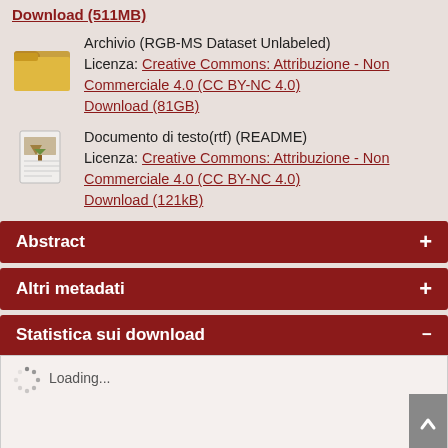Download (511MB)
Archivio (RGB-MS Dataset Unlabeled)
Licenza: Creative Commons: Attribuzione - Non Commerciale 4.0 (CC BY-NC 4.0)
Download (81GB)
Documento di testo(rtf) (README)
Licenza: Creative Commons: Attribuzione - Non Commerciale 4.0 (CC BY-NC 4.0)
Download (121kB)
Abstract
Altri metadati
Statistica sui download
Loading...